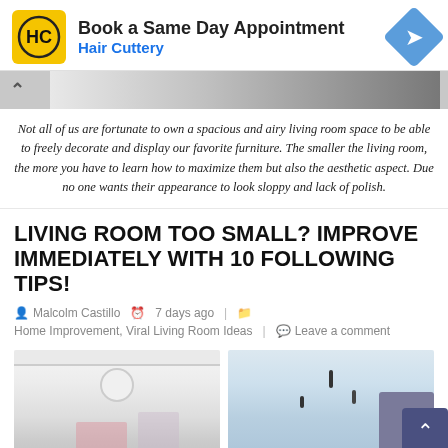[Figure (other): Hair Cuttery advertisement banner with yellow HC logo, 'Book a Same Day Appointment' text, Hair Cuttery subtitle in blue, and a blue diamond direction sign icon]
[Figure (photo): Partial hero image strip showing a living room interior, greyscale tones, with a chevron/up arrow on the left]
Not all of us are fortunate to own a spacious and airy living room space to be able to freely decorate and display our favorite furniture. The smaller the living room, the more you have to learn how to maximize them but also the aesthetic aspect. Due no one wants their appearance to look sloppy and lack of polish.
LIVING ROOM TOO SMALL? IMPROVE IMMEDIATELY WITH 10 FOLLOWING TIPS!
Malcolm Castillo   7 days ago   Home Improvement, Viral Living Room Ideas   Leave a comment
[Figure (photo): Two side-by-side living room interior photos at the bottom of the page, left shows a white room with pink curtains, right shows a light blue minimalist room with dark furniture accents]